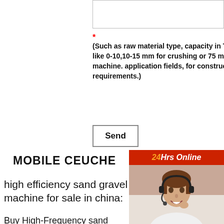(Such as raw material type, capacity in TPH, feed size like 0-10,10-15 mm for crushing or 75 microns(2... machine. application fields, for construction, m... requirements.)
Send
[Figure (photo): Customer service representative wearing a headset, smiling, with '24Hrs Online' banner and 'Need questions & suggestion? Chat Now' overlay]
MOBILE CEUCHE
high efficiency sand gravel machine for sale in china:
Buy High-Frequency sand screen Machine - Alibaba
GAODETEC sand screen machine for ch...